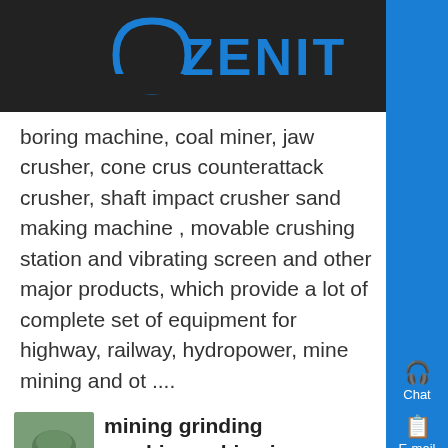[Figure (logo): Zenit company logo with triangular arch and blue lettering on dark background]
boring machine, coal miner, jaw crusher, cone crusher, counterattack crusher, shaft impact crusher sand making machine , movable crushing station and vibrating screen and other major products, which provide a lot of complete set of equipment for highway, railway, hydropower, mine mining and ot....
[Figure (photo): Small thumbnail photo of mining/grinding machinery, green colored machine]
mining grinding machinerychina iron ore mining process , - Know More
May 13, 2018 0183 32 Quarry Project Mobile Stone Crusher Plant Machine Prices In India Mining,Quarry,Chemical Industry and Construction Iron Grey Mainstructure Boat-type frame, crushing plant, screening plant to the mobile crushing process